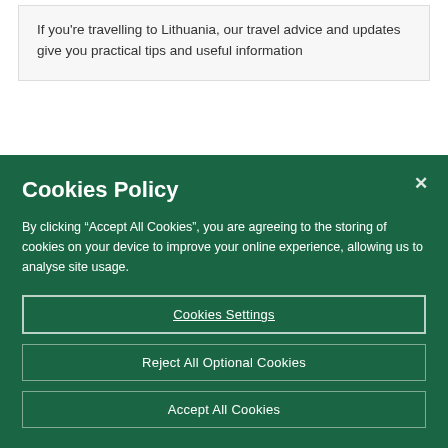If you’re travelling to Lithuania, our travel advice and updates give you practical tips and useful information
About Ireland
Cookies Policy
By clicking “Accept All Cookies”, you are agreeing to the storing of cookies on your device to improve your online experience, allowing us to analyse site usage.
Cookies Settings
Reject All Optional Cookies
Accept All Cookies